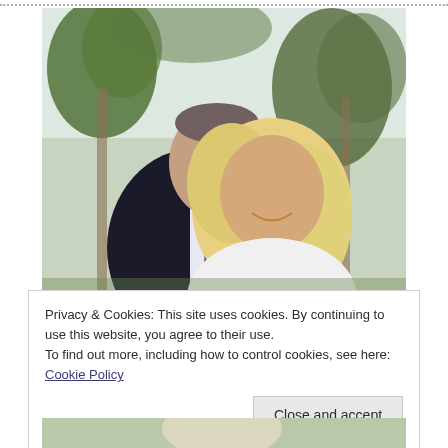[Figure (photo): A couple posing together outdoors with palm trees in background. A man with glasses and a dark suit with purple tie leans toward a blonde woman in white clothing. Both are smiling.]
Privacy & Cookies: This site uses cookies. By continuing to use this website, you agree to their use.
To find out more, including how to control cookies, see here: Cookie Policy
Close and accept
[Figure (photo): Partial view of a second photo at the bottom of the page.]